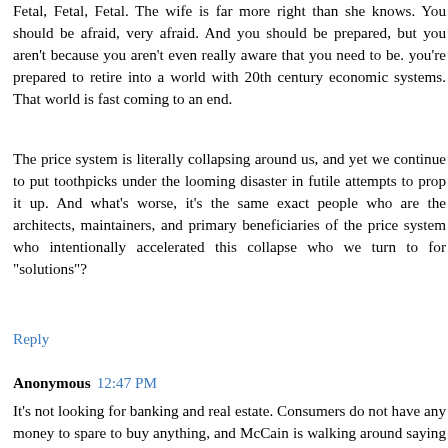Fetal, Fetal, Fetal. The wife is far more right than she knows. You should be afraid, very afraid. And you should be prepared, but you aren't because you aren't even really aware that you need to be. you're prepared to retire into a world with 20th century economic systems. That world is fast coming to an end.
The price system is literally collapsing around us, and yet we continue to put toothpicks under the looming disaster in futile attempts to prop it up. And what's worse, it's the same exact people who are the architects, maintainers, and primary beneficiaries of the price system who intentionally accelerated this collapse who we turn to for "solutions"?
Reply
Anonymous 12:47 PM
It's not looking for banking and real estate. Consumers do not have any money to spare to buy anything, and McCain is walking around saying off the cuff that doesn't make any sense. He knows nothing about the economy and making statements that it is fundmentally sound. It will not be sound